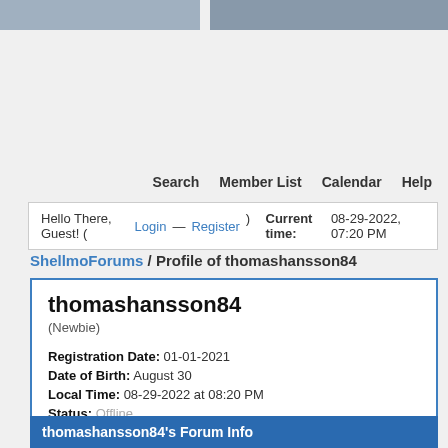[Figure (photo): Top banner with partial images visible]
Search   Member List   Calendar   Help
Hello There, Guest! (Login — Register)   Current time: 08-29-2022, 07:20 PM
ShellmoForums / Profile of thomashansson84
thomashansson84
(Newbie)
Registration Date: 01-01-2021
Date of Birth: August 30
Local Time: 08-29-2022 at 08:20 PM
Status: Offline
thomashansson84's Forum Info